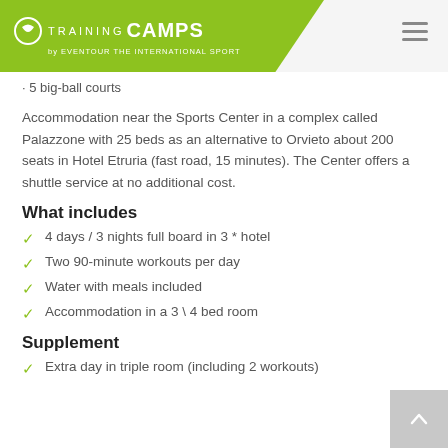TRAINING CAMPS by EVENTOUR THE INTERNATIONAL SPORT
· 5 big-ball courts
Accommodation near the Sports Center in a complex called Palazzone with 25 beds as an alternative to Orvieto about 200 seats in Hotel Etruria (fast road, 15 minutes). The Center offers a shuttle service at no additional cost.
What includes
4 days / 3 nights full board in 3 * hotel
Two 90-minute workouts per day
Water with meals included
Accommodation in a 3 \ 4 bed room
Supplement
Extra day in triple room (including 2 workouts)